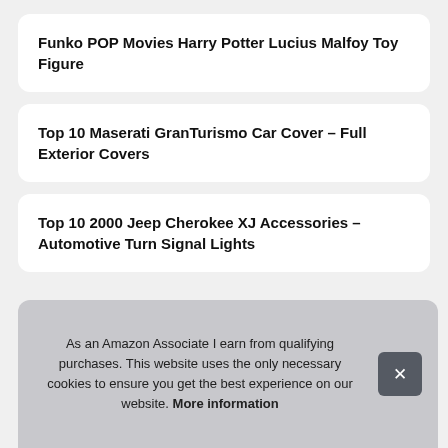Funko POP Movies Harry Potter Lucius Malfoy Toy Figure
Top 10 Maserati GranTurismo Car Cover – Full Exterior Covers
Top 10 2000 Jeep Cherokee XJ Accessories – Automotive Turn Signal Lights
Recent posts
T... Tire...
T... Hea...
As an Amazon Associate I earn from qualifying purchases. This website uses the only necessary cookies to ensure you get the best experience on our website. More information